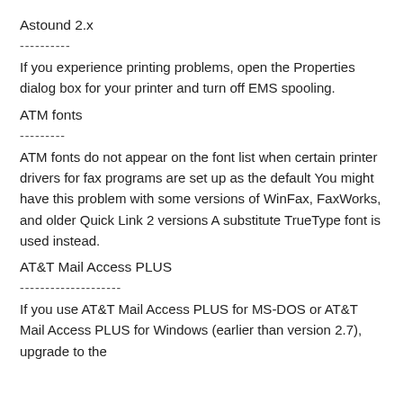Astound 2.x
----------
If you experience printing problems, open the Properties dialog box for your printer and turn off EMS spooling.
ATM fonts
---------
ATM fonts do not appear on the font list when certain printer drivers for fax programs are set up as the default You might have this problem with some versions of WinFax, FaxWorks, and older Quick Link 2 versions A substitute TrueType font is used instead.
AT&T Mail Access PLUS
--------------------
If you use AT&T Mail Access PLUS for MS-DOS or AT&T Mail Access PLUS for Windows (earlier than version 2.7), upgrade to the